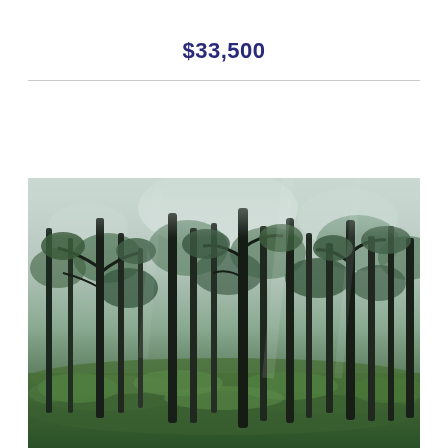$33,500
[Figure (photo): Wooded forest landscape with tall deciduous trees, green undergrowth, and a hazy overcast sky visible through the canopy]